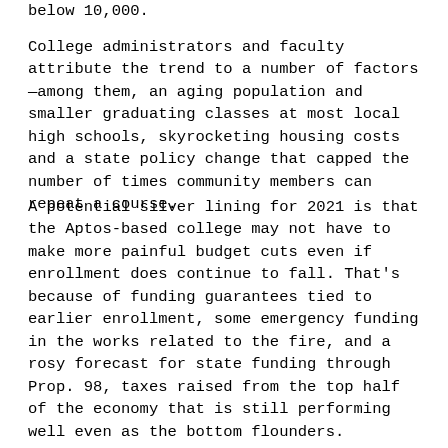below 10,000.
College administrators and faculty attribute the trend to a number of factors—among them, an aging population and smaller graduating classes at most local high schools, skyrocketing housing costs and a state policy change that capped the number of times community members can repeat a course.
A potential silver lining for 2021 is that the Aptos-based college may not have to make more painful budget cuts even if enrollment does continue to fall. That's because of funding guarantees tied to earlier enrollment, some emergency funding in the works related to the fire, and a rosy forecast for state funding through Prop. 98, taxes raised from the top half of the economy that is still performing well even as the bottom flounders.